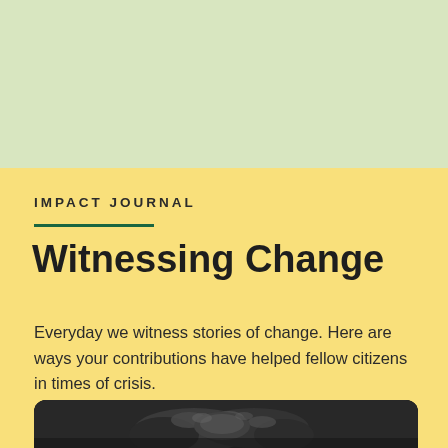IMPACT JOURNAL
Witnessing Change
Everyday we witness stories of change. Here are ways your contributions have helped fellow citizens in times of crisis.
[Figure (photo): Black and white close-up photograph of elderly person's hands clasped together, resting on a surface]